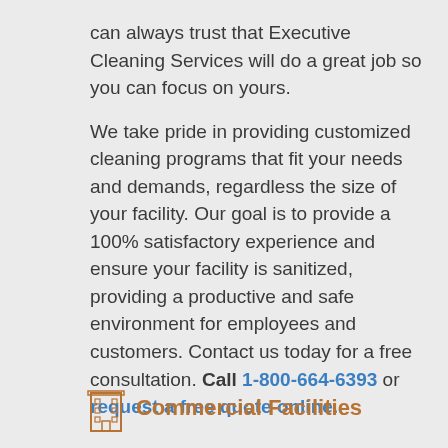can always trust that Executive Cleaning Services will do a great job so you can focus on yours.

We take pride in providing customized cleaning programs that fit your needs and demands, regardless the size of your facility. Our goal is to provide a 100% satisfactory experience and ensure your facility is sanitized, providing a productive and safe environment for employees and customers. Contact us today for a free consultation. Call 1-800-664-6393 or request a free quote online.
Commercial Facilities